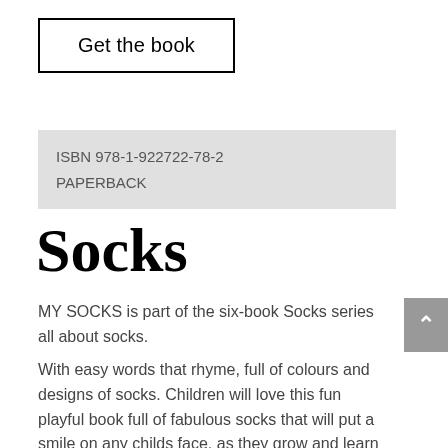Get the book
ISBN 978-1-922722-78-2
PAPERBACK
Socks
MY SOCKS is part of the six-book Socks series all about socks.
With easy words that rhyme, full of colours and designs of socks. Children will love this fun playful book full of fabulous socks that will put a smile on any childs face, as they grow and learn to read it themselves. For early learning, kinder, primary